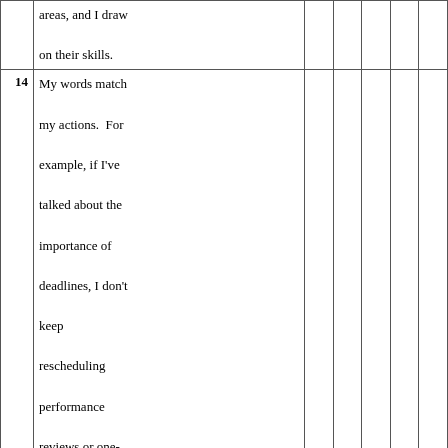|  | areas, and I draw on their skills. |  |  |  |  |  |
| 14 | My words match my actions.  For example, if I've talked about the importance of deadlines, I don't keep rescheduling performance reviews or one-on-one meetings. |  |  |  |  |  |
| 15 | I provide negative feedback within 1–2 days, rather than waiting weeks or months. |  |  |  |  |  |
|  |  |  |  |  |  |  |